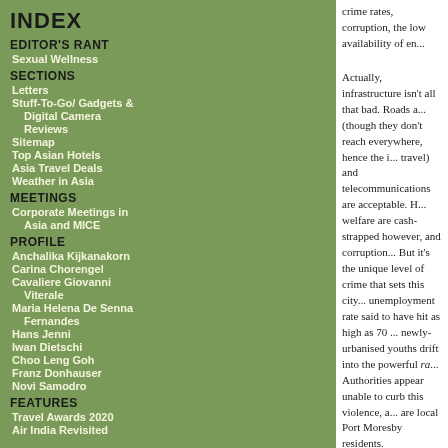INDEX
EDITOR'S RANT
Sexual Wellness
SECTIONS
Letters
Stuff-To-Go/ Gadgets & Digital Camera Reviews
Sitemap
Top Asian Hotels
Asia Travel Deals
Weather in Asia
MEETINGS
Corporate Meetings in Asia and MICE
PROFILE
Anchalika Kijkanakorn
Carina Chorengel
Cavaliere Giovanni Viterale
Maria Helena De Senna Fernandes
Hans Jenni
Iwan Dietschi
Choo Leng Goh
Franz Donhauser
Novi Samodro
FEATURES
Travel Awards 2020
Air India Revisited
crime rates, corruption, the low availability of en...
Actually, infrastructure isn’t all that bad. Roads a... (though they don’t reach everywhere, hence the i... travel) and telecommunications are acceptable. H... welfare are cash-strapped however, and corruption... But it’s the unique level of crime that sets this city... unemployment rate said to have hit as high as 70 ... newly-urbanised youths drift into the powerful ra... Authorities appear unable to curb this violence, a... are local Port Moresby residents.
Send us your Feedback / Letter to the Editor
Still, all this talk can give the wrong impression. M... more than five years and not had direct contact wi... Port Moresby and one other similarly dismal city,...
Papua New Guinea occupies the eastern half of th... or so small islands (though only 40 of these are si... Irian Jaya, also with a large Papuan population,...